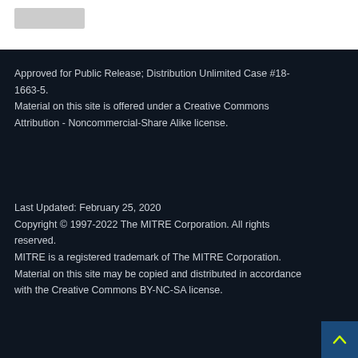[Figure (logo): Light gray logo placeholder rectangle in white top bar]
Approved for Public Release; Distribution Unlimited Case #18-1663-5.
Material on this site is offered under a Creative Commons Attribution - Noncommercial-Share Alike license.
Last Updated: February 25, 2020
Copyright © 1997-2022 The MITRE Corporation. All rights reserved.
MITRE is a registered trademark of The MITRE Corporation. Material on this site may be copied and distributed in accordance with the Creative Commons BY-NC-SA license.